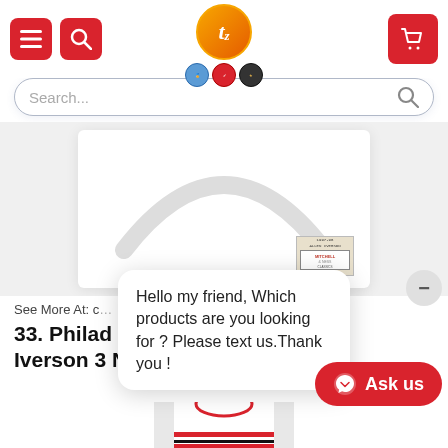[Figure (screenshot): E-commerce website header with navigation icons (hamburger menu, search), centered logo (orange circle with T and tz), three badge icons, a search bar, and a cart icon on the right.]
[Figure (photo): White Allen Iverson 1997-98 Mitchell & Ness NBA basketball jersey laid flat showing the back, with an official Mitchell & Ness tag visible at the lower right.]
See More At: c...
33. Philadelphia 76ers Allen Iverson 3 NBA Basketball Jersey
[Figure (screenshot): Chat popup overlay reading: Hello my friend, Which products are you looking for ? Please text us.Thank you !]
[Figure (screenshot): Red Ask us button with Messenger icon at bottom right of screen.]
[Figure (photo): Bottom portion of a red and white Philadelphia 76ers NBA basketball jersey visible at the bottom of the screen.]